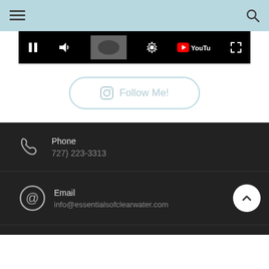Navigation header with hamburger menu and search icon
[Figure (screenshot): YouTube video player controls bar with pause, volume, settings, YouTube logo, and fullscreen buttons on a black background]
[Figure (other): Follow Me button with Instagram icon, rounded pill shape with light blue border]
Phone
727) 223-3313
Email
info@essentialsofclearwater.com